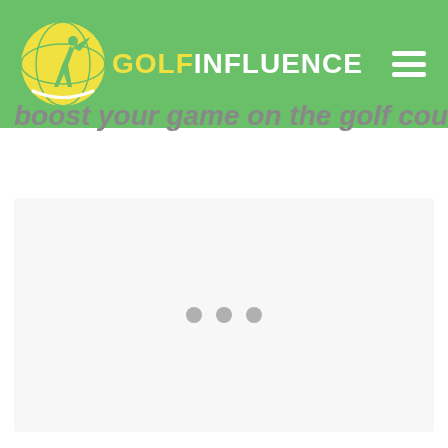Golf Influence
boost your game on the golf course.
[Figure (other): Loading placeholder box with three grey dots indicating content is loading]